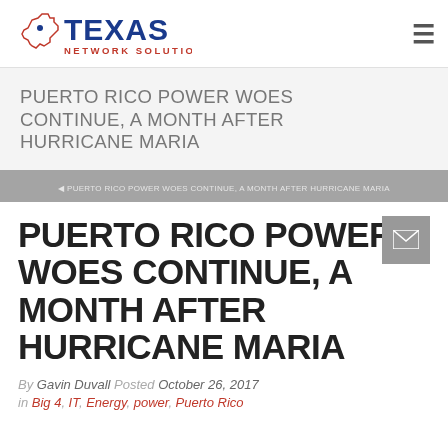Texas Network Solutions
PUERTO RICO POWER WOES CONTINUE, A MONTH AFTER HURRICANE MARIA
PUERTO RICO POWER WOES CONTINUE, A MONTH AFTER HURRICANE MARIA
PUERTO RICO POWER WOES CONTINUE, A MONTH AFTER HURRICANE MARIA
By Gavin Duvall Posted October 26, 2017
In Big 4, IT, Energy, power, Puerto Rico